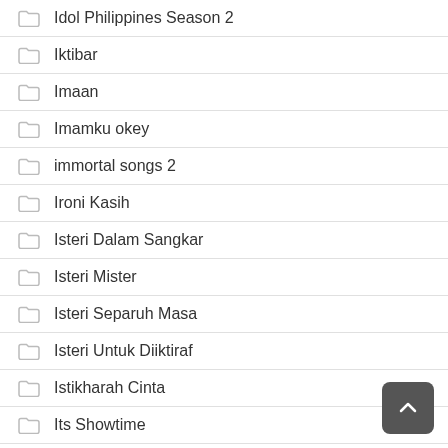Idol Philippines Season 2
Iktibar
Imaan
Imamku okey
immortal songs 2
Ironi Kasih
Isteri Dalam Sangkar
Isteri Mister
Isteri Separuh Masa
Isteri Untuk Diiktiraf
Istikharah Cinta
Its Showtime
J.K.K. Raya (2022)
Jalan Sesat Ke Syurga
Janda Kosmopolitan